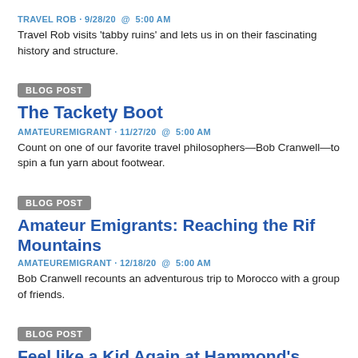TRAVEL ROB · 9/28/20 @ 5:00 AM
Travel Rob visits 'tabby ruins' and lets us in on their fascinating history and structure.
BLOG POST
The Tackety Boot
AMATEUREMIGRANT · 11/27/20 @ 5:00 AM
Count on one of our favorite travel philosophers—Bob Cranwell—to spin a fun yarn about footwear.
BLOG POST
Amateur Emigrants: Reaching the Rif Mountains
AMATEUREMIGRANT · 12/18/20 @ 5:00 AM
Bob Cranwell recounts an adventurous trip to Morocco with a group of friends.
BLOG POST
Feel like a Kid Again at Hammond's Candies, Denver